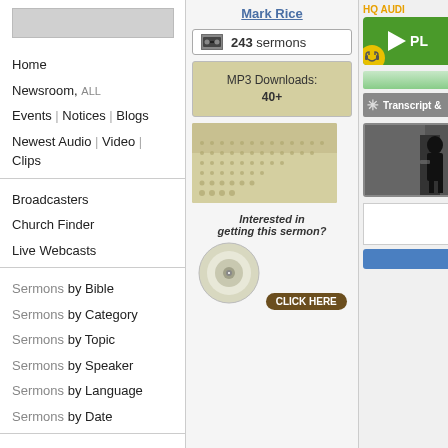[Figure (screenshot): Gray placeholder box at top of left navigation]
Home
Newsroom, ALL
Events | Notices | Blogs
Newest Audio | Video | Clips
Broadcasters
Church Finder
Live Webcasts
Sermons by Bible
Sermons by Category
Sermons by Topic
Sermons by Speaker
Sermons by Language
Sermons by Date
Staff Picks
Comments, ALL -9 sec
Top Sermons
Online Bible
Mark Rice
243 sermons
MP3 Downloads: 40+
Interested in getting this sermon? CLICK HERE
[Figure (screenshot): HQ Audio play button (green) with headphone icon]
[Figure (screenshot): Transcript bar button]
[Figure (photo): Video thumbnail showing a speaker at a podium]